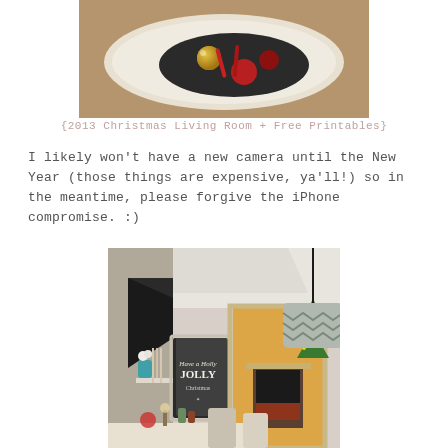[Figure (photo): Top-down photo of a white tray with Christmas ornaments (gold, red, and dark-colored balls) on a dark plate, on a brown surface.]
{2013 Christmas Living Room + Free Printables}
I likely won't have a new camera until the New Year (those things are expensive, ya'll!) so in the meantime, please forgive the iPhone compromise. :)
[Figure (photo): Interior photo of a home dining/living area decorated for Christmas, showing a chalkboard sign reading 'Have a Holly Jolly Christmas', a pendant lamp with chevron shade, Christmas tree and fireplace visible through a doorway.]